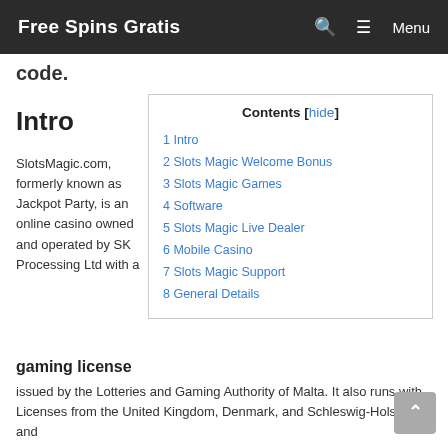Free Spins Gratis  🔍  ☰ Menu
code.
Intro
| Contents [hide] |
| --- |
| 1 Intro |
| 2 Slots Magic Welcome Bonus |
| 3 Slots Magic Games |
| 4 Software |
| 5 Slots Magic Live Dealer |
| 6 Mobile Casino |
| 7 Slots Magic Support |
| 8 General Details |
SlotsMagic.com, formerly known as Jackpot Party, is an online casino owned and operated by SK Processing Ltd with a gaming license issued by the Lotteries and Gaming Authority of Malta. It also runs with Licenses from the United Kingdom, Denmark, and Schleswig-Holstein and